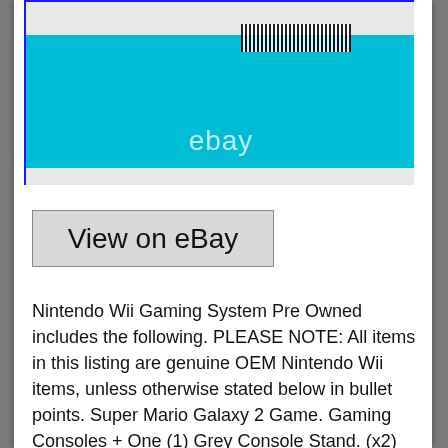[Figure (photo): Photo of a Nintendo Wii console back/bottom panel showing a teal/blue color with a barcode sticker and ventilation grilles, with an eBay watermark overlay]
[Figure (screenshot): Button labeled 'View on eBay' with a grey background and border]
Nintendo Wii Gaming System Pre Owned includes the following. PLEASE NOTE: All items in this listing are genuine OEM Nintendo Wii items, unless otherwise stated below in bullet points. Super Mario Galaxy 2 Game. Gaming Consoles + One (1) Grey Console Stand. (x2) White RVL-001 (USA) ONE FACE PLATE IS MISSING FROM ONE OF THE WHITE CONSOLES S/N:LU75104042 YR 2006 S/N: LU12417261 YR 2006. (x1) Blue RVL-101